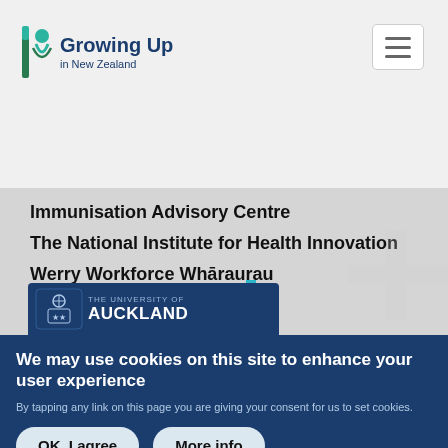[Figure (logo): Growing Up in New Zealand logo — stylized figure with teal/green bar beside text]
Immunisation Advisory Centre
The National Institute for Health Innovation
Werry Workforce Whāraurau
[Figure (logo): UniServices logo — 'uniservices+' in teal with subtitle 'IDEAS TO LIFE RANGAHAUA KIA WHAI HUA']
[Figure (logo): The University of Auckland logo — dark blue badge with crest and university name]
We may use cookies on this site to enhance your user experience
By tapping any link on this page you are giving your consent for us to set cookies.
OK, I agree
More info